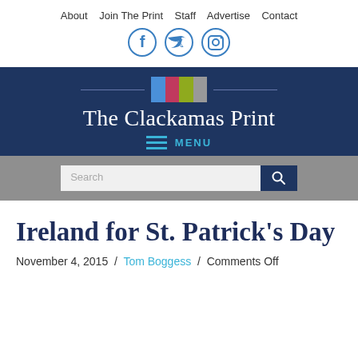About  Join The Print  Staff  Advertise  Contact
[Figure (logo): Social media icons: Facebook, Twitter, Instagram]
The Clackamas Print
MENU
Search
Ireland for St. Patrick's Day
November 4, 2015 / Tom Boggess / Comments Off